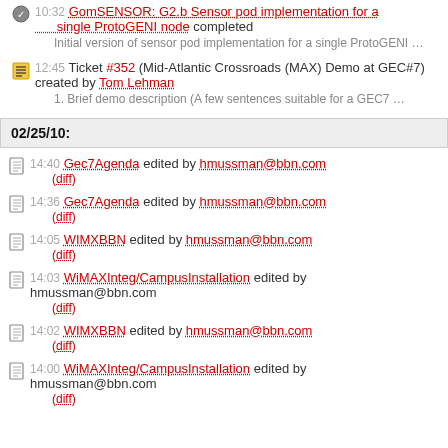10:32 Milestone GomSENSOR: G2.b Sensor pod implementation for a single ProtoGENI node completed
Initial version of sensor pod implementation for a single ProtoGENI …
12:45 Ticket #352 (Mid-Atlantic Crossroads (MAX) Demo at GEC#7) created by Tom Lehman
1. Brief demo description (A few sentences suitable for a GEC7 …
02/25/10:
14:40 Gec7Agenda edited by hmussman@bbn.com (diff)
14:36 Gec7Agenda edited by hmussman@bbn.com (diff)
14:05 WIMXBBN edited by hmussman@bbn.com (diff)
14:03 WiMAXInteg/CampusInstallation edited by hmussman@bbn.com (diff)
14:02 WIMXBBN edited by hmussman@bbn.com (diff)
14:00 WiMAXInteg/CampusInstallation edited by hmussman@bbn.com (diff)